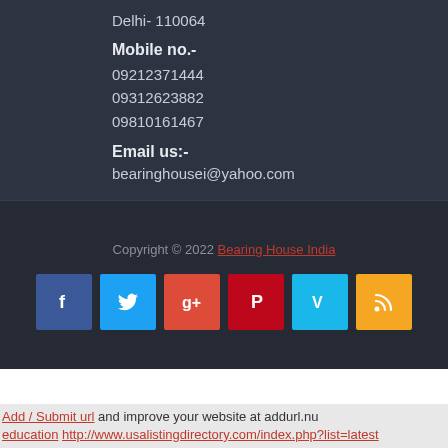Delhi- 110064
Mobile no.-
09212371444
09312623882
09810161467
Email us:-
bearinghousei@yahoo.com
Copyright © 2022 Bearing House India
[Figure (other): Social media icons row: Facebook (blue), Twitter (light blue), Google+ (red-orange), Pinterest (dark red), Vimeo (cyan), RSS (orange)]
Add / Submit url and improve your website at addurl.nu
education http://www.usalistingdirectory.com/index.php?list=latest